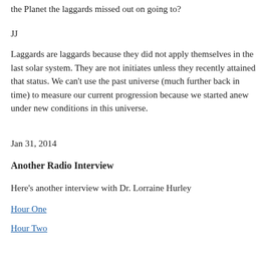the Planet the laggards missed out on going to?
JJ
Laggards are laggards because they did not apply themselves in the last solar system. They are not initiates unless they recently attained that status. We can’t use the past universe (much further back in time) to measure our current progression because we started anew under new conditions in this universe.
Jan 31, 2014
Another Radio Interview
Here’s another interview with Dr. Lorraine Hurley
Hour One
Hour Two